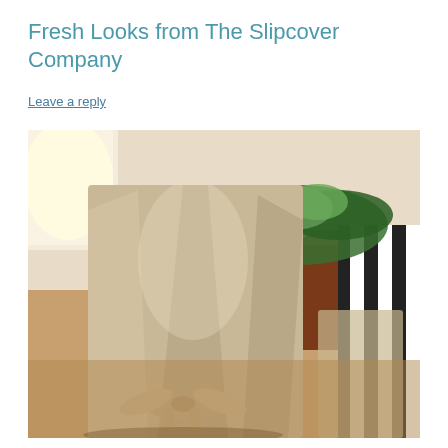Fresh Looks from The Slipcover Company
Leave a reply
[Figure (photo): Photo of a dining chair with a light beige/tan slipcover tied with a bow at the back, viewed from behind. A wooden dining table with a black and white striped table runner and green plant centerpiece is visible in the background.]